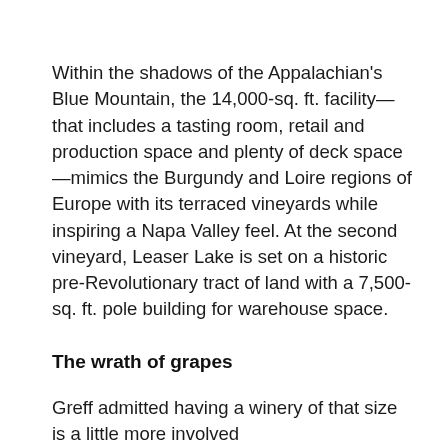Within the shadows of the Appalachian's Blue Mountain, the 14,000-sq. ft. facility—that includes a tasting room, retail and production space and plenty of deck space—mimics the Burgundy and Loire regions of Europe with its terraced vineyards while inspiring a Napa Valley feel. At the second vineyard, Leaser Lake is set on a historic pre-Revolutionary tract of land with a 7,500-sq. ft. pole building for warehouse space.
The wrath of grapes
Greff admitted having a winery of that size is a little more involved